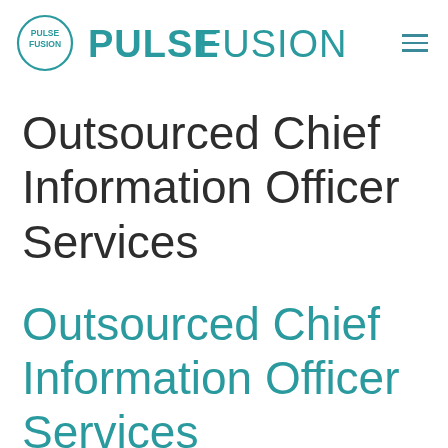PULSE FUSION
Outsourced Chief Information Officer Services
Outsourced Chief Information Officer Services